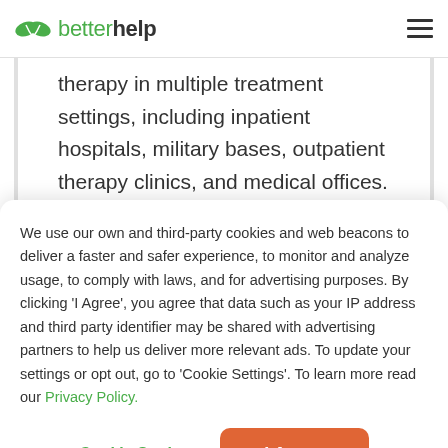betterhelp
therapy in multiple treatment settings, including inpatient hospitals, military bases, outpatient therapy clinics, and medical offices. My training has prepared me to feel confident working with individuals, children and adolescents, couples, and families depending on the concerns needing to be addressed in therapy. My
We use our own and third-party cookies and web beacons to deliver a faster and safer experience, to monitor and analyze usage, to comply with laws, and for advertising purposes. By clicking 'I Agree', you agree that data such as your IP address and third party identifier may be shared with advertising partners to help us deliver more relevant ads. To update your settings or opt out, go to 'Cookie Settings'. To learn more read our Privacy Policy.
Cookie Settings
I Agree